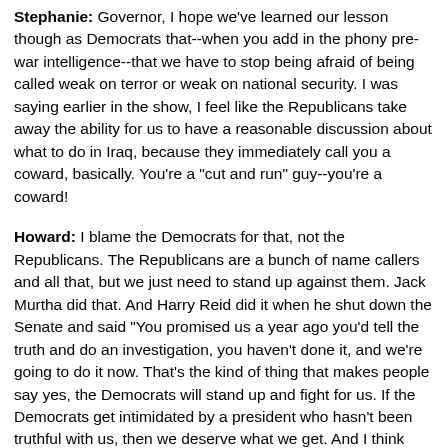Stephanie: Governor, I hope we've learned our lesson though as Democrats that--when you add in the phony pre-war intelligence--that we have to stop being afraid of being called weak on terror or weak on national security. I was saying earlier in the show, I feel like the Republicans take away the ability for us to have a reasonable discussion about what to do in Iraq, because they immediately call you a coward, basically. You're a "cut and run" guy--you're a coward!
Howard: I blame the Democrats for that, not the Republicans. The Republicans are a bunch of name callers and all that, but we just need to stand up against them. Jack Murtha did that. And Harry Reid did it when he shut down the Senate and said "You promised us a year ago you'd tell the truth and do an investigation, you haven't done it, and we're going to do it now. That's the kind of thing that makes people say yes, the Democrats will stand up and fight for us. If the Democrats get intimidated by a president who hasn't been truthful with us, then we deserve what we get. And I think that those days are coming to an end.
Stephanie: I absolutely. Governor, thank you so...